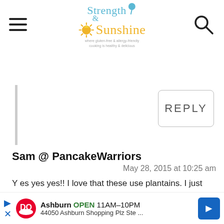Strength & Sunshine — website header logo
[Figure (logo): Strength & Sunshine blog logo with sun icon, tagline: where gluten-free & allergy-friendly cooking is healthy & delicious]
REPLY
Sam @ PancakeWarriors
May 28, 2015 at 10:25 am
Y es yes yes!! I love that these use plantains. I just got my hands on some perfectly ripe plantains and I'm so excited to bake with them!! If only i had a donut pan!! I'm sure these...
[Figure (screenshot): Dairy Queen ad: Ashburn OPEN 11AM-10PM, 44050 Ashburn Shopping Plz Ste...]